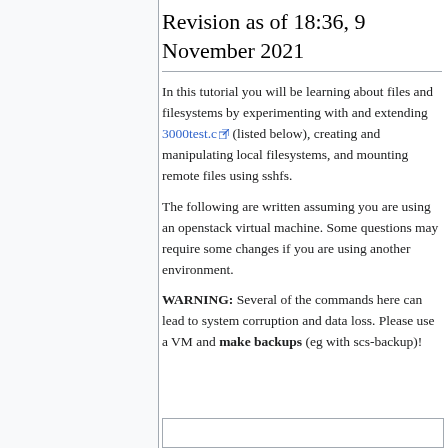Revision as of 18:36, 9 November 2021
In this tutorial you will be learning about files and filesystems by experimenting with and extending 3000test.c (listed below), creating and manipulating local filesystems, and mounting remote files using sshfs.
The following are written assuming you are using an openstack virtual machine. Some questions may require some changes if you are using another environment.
WARNING: Several of the commands here can lead to system corruption and data loss. Please use a VM and make backups (eg with scs-backup)!